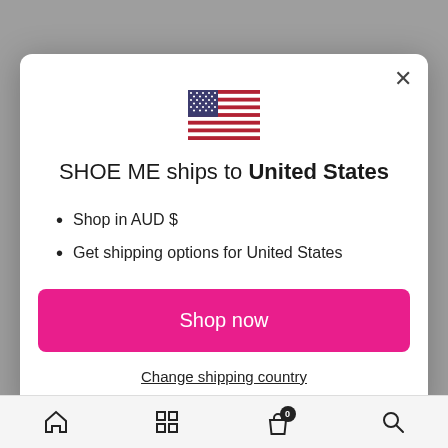[Figure (illustration): US flag emoji icon centered at top of modal]
SHOE ME ships to United States
Shop in AUD $
Get shipping options for United States
Shop now
Change shipping country
[Figure (infographic): Bottom navigation bar with home, grid, bag with badge 0, and search icons]